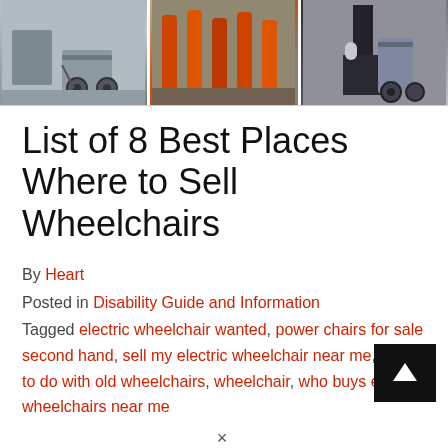[Figure (photo): Three-panel image strip showing wheelchairs: left panel shows a wheelchair in an interior room, middle panel shows medical equipment with orange fire extinguishers, right panel shows a person standing next to a wheelchair.]
List of 8 Best Places Where to Sell Wheelchairs
By Heart
Posted in Disability Guide and Information
Tagged electric wheelchair wanted, power chairs for sale second hand, sell my electric wheelchair near me, what to do with old wheelchairs, wheelchair, who buys electric wheelchairs near me